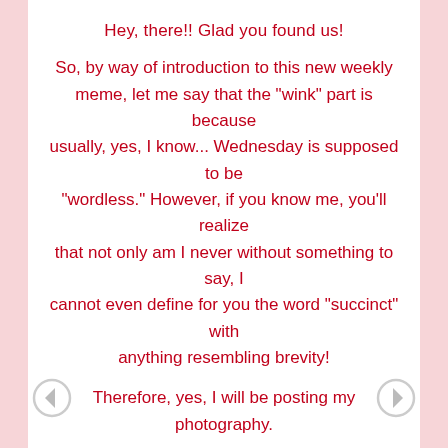Hey, there!! Glad you found us!
So, by way of introduction to this new weekly meme, let me say that the "wink" part is because usually, yes, I know... Wednesday is supposed to be "wordless." However, if you know me, you'll realize that not only am I never without something to say, I cannot even define for you the word "succinct" with anything resembling brevity!
Therefore, yes, I will be posting my photography.